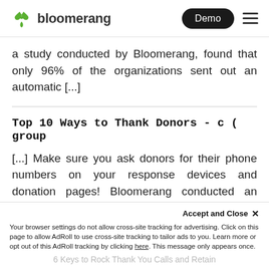bloomerang | Demo
a study conducted by Bloomerang, found that only 96% of the organizations sent out an automatic [...]
Top 10 Ways to Thank Donors - c ( group
[...] Make sure you ask donors for their phone numbers on your response devices and donation pages! Bloomerang conducted an experiment to see how 50 randomly selected nonprofits in the Indianapolis-metro area responded to their [...]
Accept and Close ✕ Your browser settings do not allow cross-site tracking for advertising. Click on this page to allow AdRoll to use cross-site tracking to tailor ads to you. Learn more or opt out of this AdRoll tracking by clicking here. This message only appears once.
6 Keys to Rock Thank You Calls and Retain